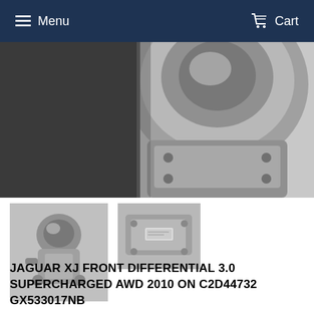Menu   Cart
[Figure (photo): Close-up photograph of a metallic automotive differential or hub component, silver/aluminum colored, cropped at the top]
[Figure (photo): Thumbnail photo of a Jaguar XJ front differential assembly, side view]
[Figure (photo): Thumbnail photo of a Jaguar XJ front differential assembly, front/angled view]
JAGUAR XJ FRONT DIFFERENTIAL 3.0 SUPERCHARGED AWD 2010 ON C2D44732 GX533017NB